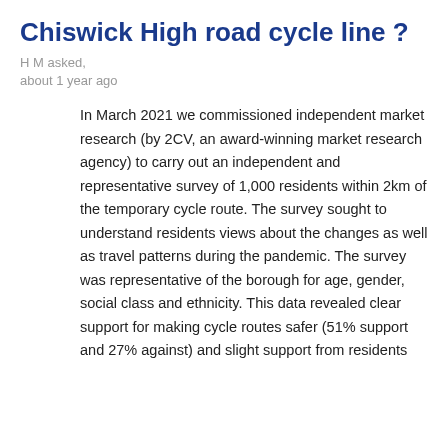Chiswick High road cycle line ?
H M asked,
about 1 year ago
In March 2021 we commissioned independent market research (by 2CV, an award-winning market research agency) to carry out an independent and representative survey of 1,000 residents within 2km of the temporary cycle route. The survey sought to understand residents views about the changes as well as travel patterns during the pandemic. The survey was representative of the borough for age, gender, social class and ethnicity. This data revealed clear support for making cycle routes safer (51% support and 27% against) and slight support from residents